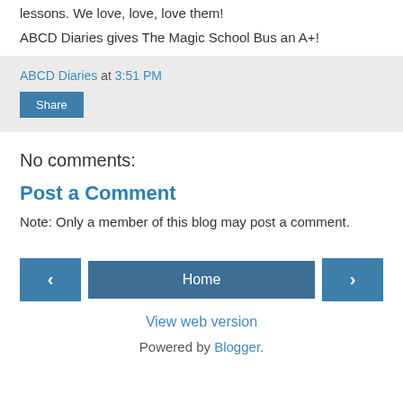lessons.  We love, love, love them!
ABCD Diaries gives The Magic School Bus an A+!
ABCD Diaries at 3:51 PM
Share
No comments:
Post a Comment
Note: Only a member of this blog may post a comment.
‹  Home  ›
View web version
Powered by Blogger.